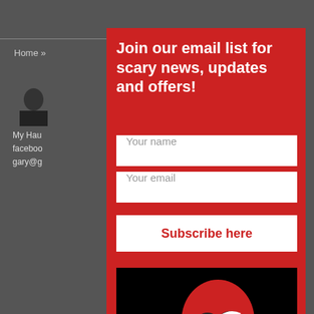Home »
[Figure (screenshot): Website screenshot showing an email signup popup overlay on a dark gray background with a red panel. The popup contains fields for 'Your name' and 'Your email', a 'Subscribe here' button, and a haunted life logo with a red skull on black background.]
My Hau
faceboo
gary@g
Join our email list for scary news, updates and offers!
Your name
Your email
Subscribe here